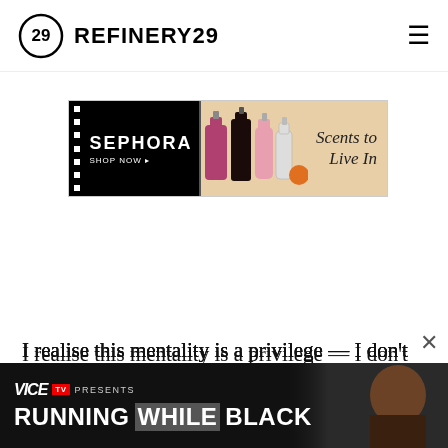REFINERY29
[Figure (screenshot): Sephora advertisement banner: black left panel with SEPHORA SHOP NOW text and white dots, right panel with beige background showing perfume bottles and 'Scents to Live In' text]
I realise this mentality is a privilege — I don't have children, or family to look after, for one, but I don't have to worry about a salary
[Figure (screenshot): VICE TV Presents: Running While Black - advertisement overlay at bottom of page with dark background and person's face visible on right side]